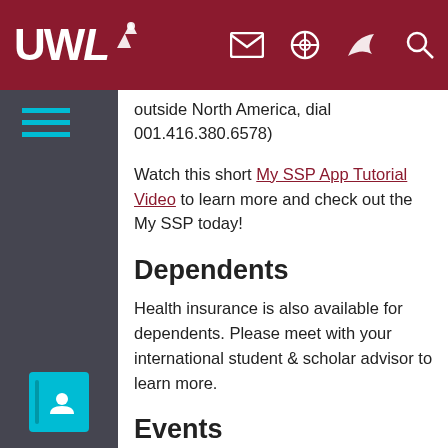UWL header navigation bar with logo and icons
outside North America, dial 001.416.380.6578)
Watch this short My SSP App Tutorial Video to learn more and check out the My SSP today!
Dependents
Health insurance is also available for dependents. Please meet with your international student & scholar advisor to learn more.
Events
13 upcoming dates/times
Education Abroad/Away 101
Thursday, Sep 15 | ...